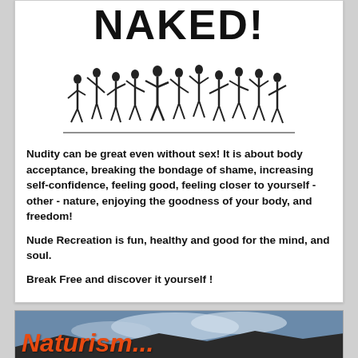NAKED!
[Figure (illustration): Black and white illustration of a crowd of nude people celebrating, dancing, and raising their arms]
Nudity can be great even without sex! It is about body acceptance, breaking the bondage of shame, increasing self-confidence, feeling good, feeling closer to yourself - other - nature, enjoying the goodness of your body, and freedom!
Nude Recreation is fun, healthy and good for the mind, and soul.
Break Free and discover it yourself !
[Figure (photo): Outdoor landscape/sky photo with large red italic bold text reading 'Naturism...' overlaid]